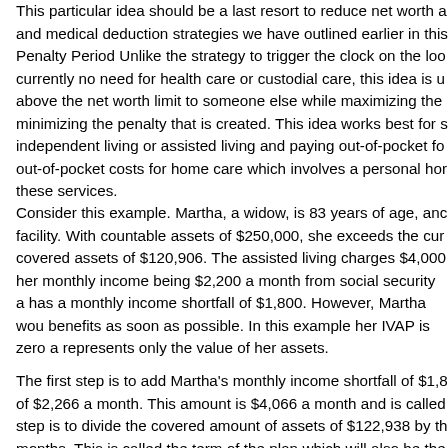This particular idea should be a last resort to reduce net worth a and medical deduction strategies we have outlined earlier in this Penalty Period Unlike the strategy to trigger the clock on the loo currently no need for health care or custodial care, this idea is u above the net worth limit to someone else while maximizing the minimizing the penalty that is created. This idea works best for s independent living or assisted living and paying out-of-pocket fo out-of-pocket costs for home care which involves a personal hor these services.
Consider this example. Martha, a widow, is 83 years of age, anc facility. With countable assets of $250,000, she exceeds the cur covered assets of $120,906. The assisted living charges $4,000 her monthly income being $2,200 a month from social security a has a monthly income shortfall of $1,800. However, Martha wou benefits as soon as possible. In this example her IVAP is zero a represents only the value of her assets.
The first step is to add Martha's monthly income shortfall of $1,8 of $2,266 a month. This amount is $4,066 a month and is called step is to divide the covered amount of assets of $122,938 by th months. This is called the term of the plan which will also be the